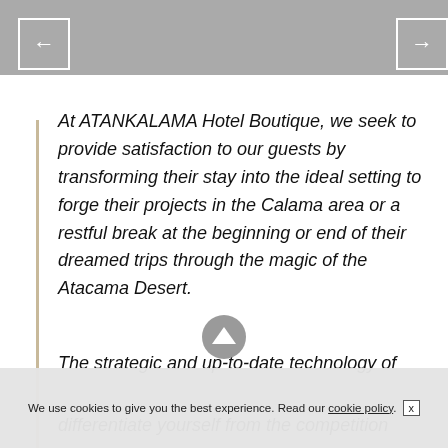[Figure (screenshot): Website screenshot of ATANKALAMA Hotel Boutique page showing navigation arrows, body text about hotel services, and a cookie consent bar at the bottom.]
At ATANKALAMA Hotel Boutique, we seek to provide satisfaction to our guests by transforming their stay into the ideal setting to forge their projects in the Calama area or a restful break at the beginning or end of their dreamed trips through the magic of the Atacama Desert.
The strategic and up-to-date technology of
differentiate yourself from the competition
We use cookies to give you the best experience. Read our cookie policy. x